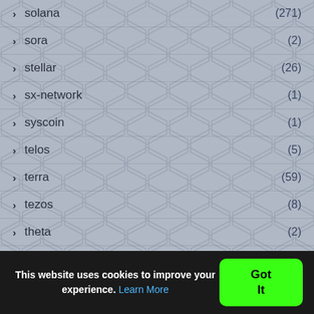solana (271)
sora (2)
stellar (26)
sx-network (1)
syscoin (1)
telos (5)
terra (59)
tezos (8)
theta (2)
Token (1)
tomochain (2)
tron (84)
This website uses cookies to improve your experience. Learn More
Got It